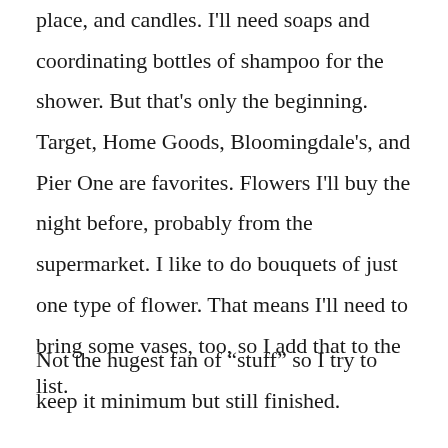place, and candles. I'll need soaps and coordinating bottles of shampoo for the shower. But that's only the beginning. Target, Home Goods, Bloomingdale's, and Pier One are favorites. Flowers I'll buy the night before, probably from the supermarket. I like to do bouquets of just one type of flower. That means I'll need to bring some vases, too, so I add that to the list.
Not the hugest fan of “stuff” so I try to keep it minimum but still finished.